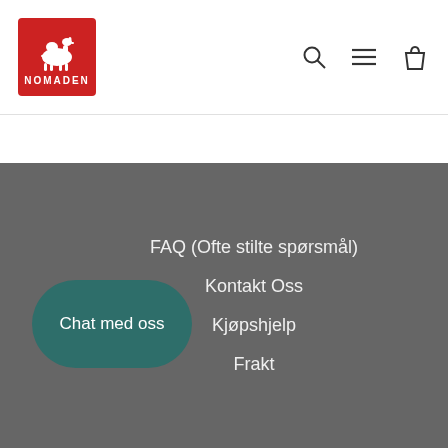[Figure (logo): Nomaden logo: red square with white camel silhouette and text NOMADEN]
[Figure (screenshot): Website header with search, menu, and shopping bag icons]
FAQ (Ofte stilte spørsmål)
Kontakt Oss
Kjøpshjelp
Frakt
Chat med oss